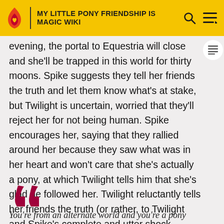MY LITTLE PONY FRIENDSHIP IS MAGIC WIKI
evening, the portal to Equestria will close and she'll be trapped in this world for thirty moons. Spike suggests they tell her friends the truth and let them know what's at stake, but Twilight is uncertain, worried that they'll reject her for not being human. Spike encourages her, saying that they rallied around her because they saw what was in her heart and won't care that she's actually a pony, at which Twilight tells him that she's glad he followed her. Twilight reluctantly tells her friends the truth (or rather, to Twilight and Spike's complete and utter shock, Pinkie guesses at it):
You're from an alternate world and you're a pony